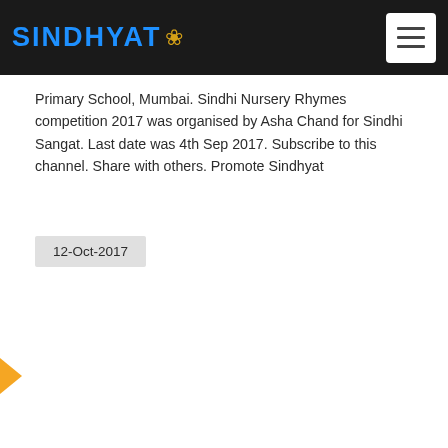SINDHYAT
Primary School, Mumbai. Sindhi Nursery Rhymes competition 2017 was organised by Asha Chand for Sindhi Sangat. Last date was 4th Sep 2017. Subscribe to this channel. Share with others. Promote Sindhyat
12-Oct-2017